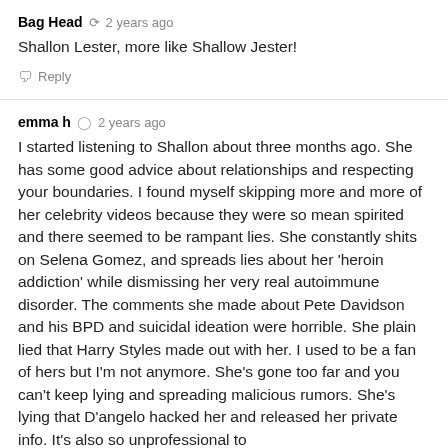Bag Head · 2 years ago
Shallon Lester, more like Shallow Jester!
Reply
emma h · 2 years ago
I started listening to Shallon about three months ago. She has some good advice about relationships and respecting your boundaries. I found myself skipping more and more of her celebrity videos because they were so mean spirited and there seemed to be rampant lies. She constantly shits on Selena Gomez, and spreads lies about her 'heroin addiction' while dismissing her very real autoimmune disorder. The comments she made about Pete Davidson and his BPD and suicidal ideation were horrible. She plain lied that Harry Styles made out with her. I used to be a fan of hers but I'm not anymore. She's gone too far and you can't keep lying and spreading malicious rumors. She's lying that D'angelo hacked her and released her private info. It's also so unprofessional to